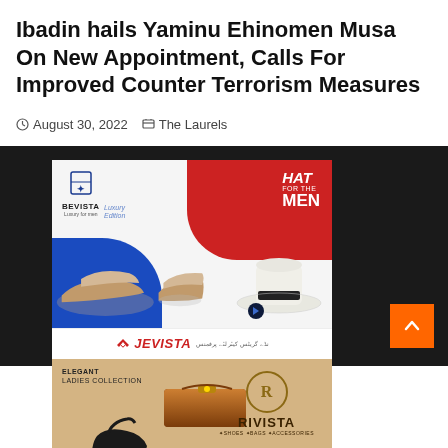Ibadin hails Yaminu Ehinomen Musa On New Appointment, Calls For Improved Counter Terrorism Measures
August 30, 2022   The Laurels
[Figure (photo): Advertisement showing two panels: top panel features BEVISTA luxury men's shoes and a white fedora hat with black band against blue and red geometric background with JEVISTA branding; bottom panel shows ELEGANT LADIES COLLECTION with high heels and a bronze clutch bag alongside RIVISTA shoes bags accessories logo on tan/beige background.]